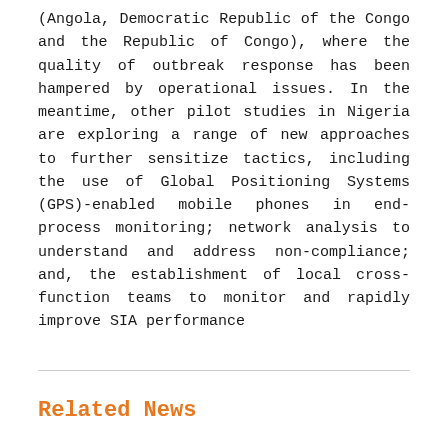(Angola, Democratic Republic of the Congo and the Republic of Congo), where the quality of outbreak response has been hampered by operational issues. In the meantime, other pilot studies in Nigeria are exploring a range of new approaches to further sensitize tactics, including the use of Global Positioning Systems (GPS)-enabled mobile phones in end-process monitoring; network analysis to understand and address non-compliance; and, the establishment of local cross-function teams to monitor and rapidly improve SIA performance
Related News